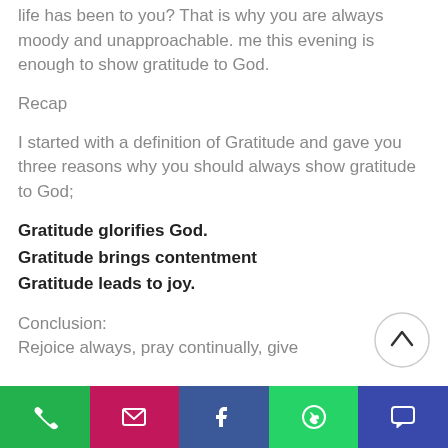life has been to you? That is why you are always moody and unapproachable. me this evening is enough to show gratitude to God.
Recap
I started with a definition of Gratitude and gave you three reasons why you should always show gratitude to God;
Gratitude glorifies God.
Gratitude brings contentment
Gratitude leads to joy.
Conclusion:
Rejoice always, pray continually, give